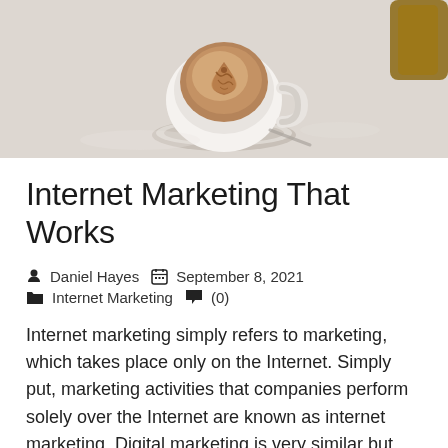[Figure (photo): Top-down photo of a cappuccino coffee in a white cup on a saucer, with latte art on top, on a light marble/stone surface with another item partially visible in the background.]
Internet Marketing That Works
Daniel Hayes  September 8, 2021  Internet Marketing  (0)
Internet marketing simply refers to marketing, which takes place only on the Internet. Simply put, marketing activities that companies perform solely over the Internet are known as internet marketing. Digital marketing is very similar but